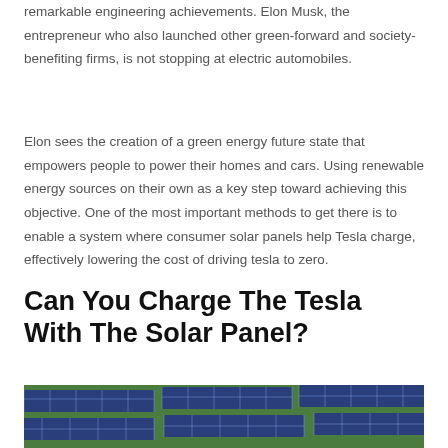remarkable engineering achievements. Elon Musk, the entrepreneur who also launched other green-forward and society-benefiting firms, is not stopping at electric automobiles.
Elon sees the creation of a green energy future state that empowers people to power their homes and cars. Using renewable energy sources on their own as a key step toward achieving this objective. One of the most important methods to get there is to enable a system where consumer solar panels help Tesla charge, effectively lowering the cost of driving tesla to zero.
Can You Charge The Tesla With The Solar Panel?
[Figure (photo): Aerial view of solar panels arranged in rows on green grass, showing blue photovoltaic cells with white grid lines.]